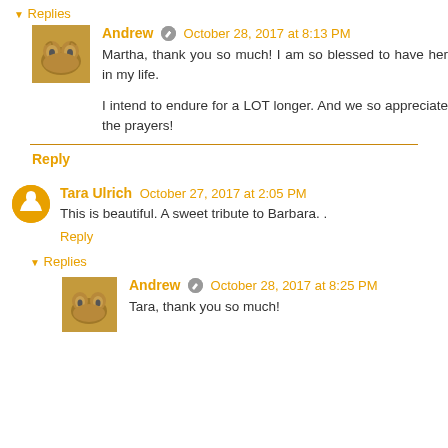▼ Replies
Andrew ✎ October 28, 2017 at 8:13 PM
Martha, thank you so much! I am so blessed to have her in my life.
I intend to endure for a LOT longer. And we so appreciate the prayers!
Reply
Tara Ulrich October 27, 2017 at 2:05 PM
This is beautiful. A sweet tribute to Barbara. .
Reply
▼ Replies
Andrew ✎ October 28, 2017 at 8:25 PM
Tara, thank you so much!